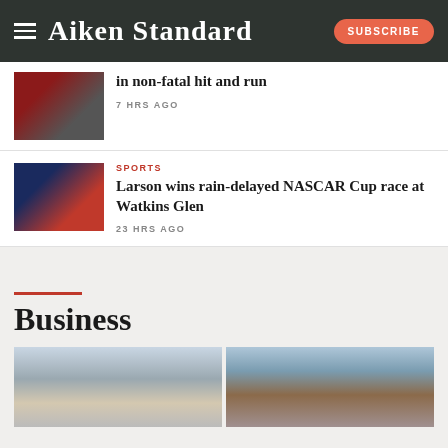Aiken Standard
in non-fatal hit and run
7 HRS AGO
SPORTS
Larson wins rain-delayed NASCAR Cup race at Watkins Glen
23 HRS AGO
Business
[Figure (photo): Two side-by-side photos for Business section: left shows a person in front of a house with triangular roofline, right shows bare trees against a blue sky]
[Figure (photo): Thumbnail image of a red car, related to non-fatal hit and run article]
[Figure (photo): Thumbnail image of NASCAR race car with blue and red livery for Larson race article]